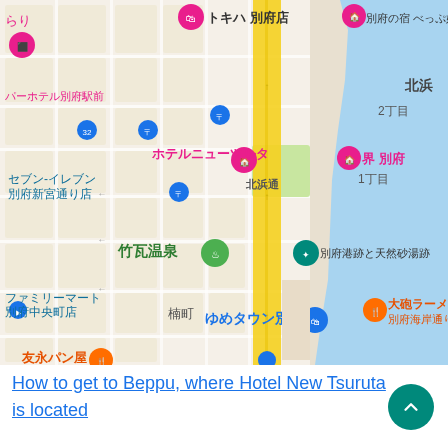[Figure (map): Google Maps view of Beppu city area in Japan, showing landmarks including ホテルニューツルタ (Hotel New Tsuruta), 竹瓦温泉 (Takegawara Onsen), ゆめタウン別府, トキハ別府店, 別府港跡と天然砂湯跡, 北浜通 street, and other local shops and hotels. A yellow vertical road runs through the center. The right side shows the sea (blue area).]
How to get to Beppu, where Hotel New Tsuruta is located